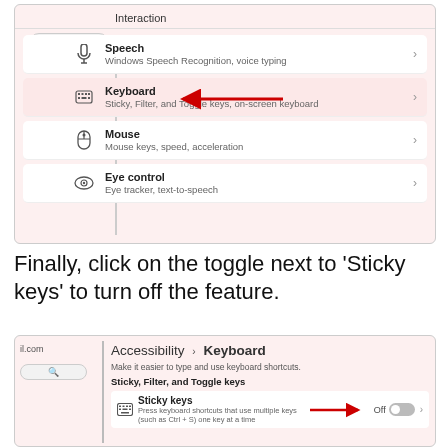[Figure (screenshot): Windows Accessibility settings screenshot showing Interaction menu with Speech, Keyboard (highlighted with red arrow), Mouse, and Eye control options. A search bar and left navigation bar are visible.]
Finally, click on the toggle next to ‘Sticky keys’ to turn off the feature.
[Figure (screenshot): Windows Accessibility > Keyboard settings screenshot showing Sticky, Filter, and Toggle keys section with Sticky keys option. A red arrow points to the Off toggle switch.]